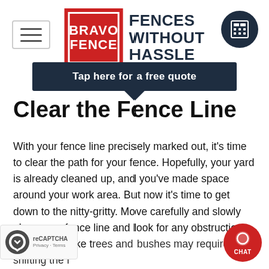Bravo Fence — Fences Without Hassle
[Figure (logo): Bravo Fence logo with red box containing BRAVO FENCE text in white, next to bold dark navy text reading FENCES WITHOUT HASSLE]
[Figure (screenshot): Dark navy circular calculator icon button in top right corner]
Tap here for a free quote
Clear the Fence Line
With your fence line precisely marked out, it's time to clear the path for your fence. Hopefully, your yard is already cleaned up, and you've made space around your work area. But now it's time to get down to the nitty-gritty. Move carefully and slowly along your fence line and look for any obstruction. Large items like trees and bushes may require shifting the f... haller items, like stumps and rocks, can b... ed. Doing this work to prepare your yard for fence installation will help find the most ele...